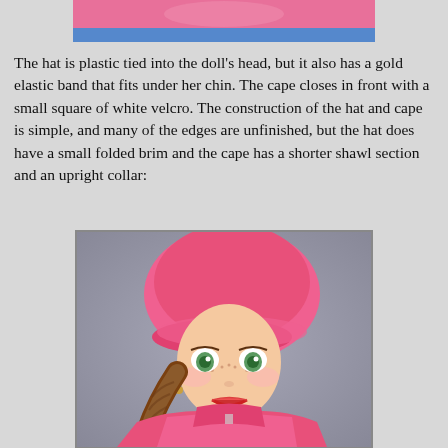[Figure (photo): Partial view of top of doll image showing pink hat and blue outfit at top of page]
The hat is plastic tied into the doll's head, but it also has a gold elastic band that fits under her chin.  The cape closes in front with a small square of white velcro.  The construction of the hat and cape is simple, and many of the edges are unfinished, but the hat does have a small folded brim and the cape has a shorter shawl section and an upright collar:
[Figure (photo): Photo of an Anna (Frozen) doll wearing a pink fleece hat with folded brim and a pink cape/shawl with upright collar, shown from approximately the shoulders up. The doll has green eyes, freckles, red lips, and a brown braid. Background is gray.]